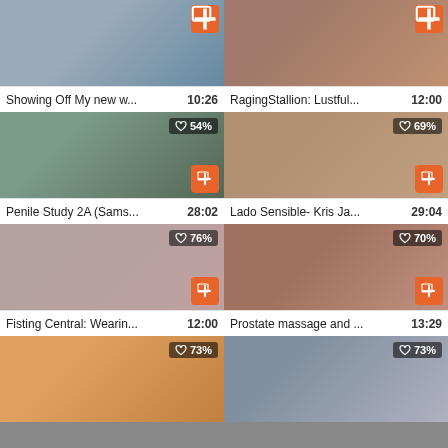[Figure (screenshot): Video thumbnail grid showing 8 video cards in a 2-column layout, each with a thumbnail image, like percentage badge, add-to-playlist button, title and duration.]
Showing Off My new w...  10:26
RagingStallion: Lustful...  12:00
Penile Study 2A (Sams...  28:02
Lado Sensible- Kris Ja...  29:04
Fisting Central: Wearin...  12:00
Prostate massage and ...  13:29
♡ 73%
♡ 73%